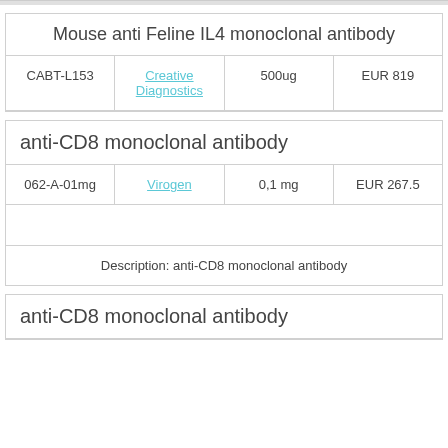Mouse anti Feline IL4 monoclonal antibody
|  | Creative Diagnostics | 500ug | EUR 819 |
| --- | --- | --- | --- |
| CABT-L153 | Creative Diagnostics | 500ug | EUR 819 |
anti-CD8 monoclonal antibody
| 062-A-01mg | Virogen | 0,1 mg | EUR 267.5 |
| --- | --- | --- | --- |
| 062-A-01mg | Virogen | 0,1 mg | EUR 267.5 |
Description: anti-CD8 monoclonal antibody
anti-CD8 monoclonal antibody